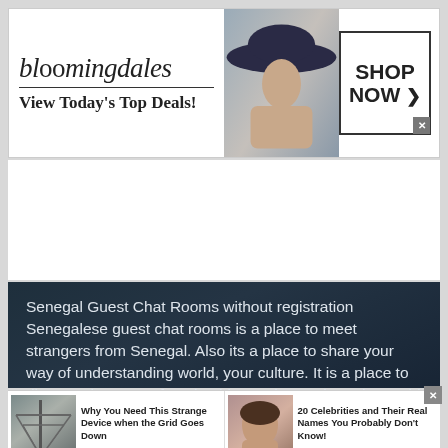[Figure (screenshot): Bloomingdales advertisement banner: logo text 'bloomingdales', tagline 'View Today's Top Deals!', model with large hat, 'SHOP NOW >' button box]
[Figure (screenshot): White empty content area, partially visible page content above dark block]
Senegal Guest Chat Rooms without registration Senegalese guest chat rooms is a place to meet strangers from Senegal. Also its a place to share your way of understanding world, your culture. It is a place to discuss about your favorite thing, to know about the world and to meet like minded people.
[Figure (screenshot): Bottom ad strip: left ad 'Why You Need This Strange Device when the Grid Goes Down' - Ad by Dark Age Defense; right ad '20 Celebrities and Their Real Names You Probably Don't Know!' - Ad by BillyNews]